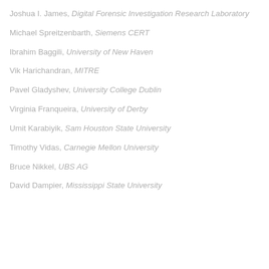Joshua I. James, Digital Forensic Investigation Research Laboratory
Michael Spreitzenbarth, Siemens CERT
Ibrahim Baggili, University of New Haven
Vik Harichandran, MITRE
Pavel Gladyshev, University College Dublin
Virginia Franqueira, University of Derby
Umit Karabiyik, Sam Houston State University
Timothy Vidas, Carnegie Mellon University
Bruce Nikkel, UBS AG
David Dampier, Mississippi State University